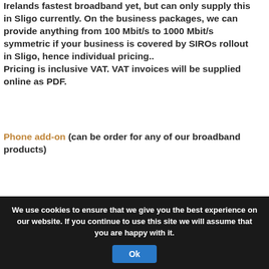We have partnered up with SIRO to provide Irelands fastest broadband yet, but can only supply this in Sligo currently. On the business packages, we can provide anything from 100 Mbit/s to 1000 Mbit/s symmetric if your business is covered by SIROs rollout in Sligo, hence individual pricing.. Pricing is inclusive VAT. VAT invoices will be supplied online as PDF.
Phone add-on (can be order for any of our broadband products)
[Figure (other): Grey card/panel area partially visible at bottom of content area]
We use cookies to ensure that we give you the best experience on our website. If you continue to use this site we will assume that you are happy with it. Ok